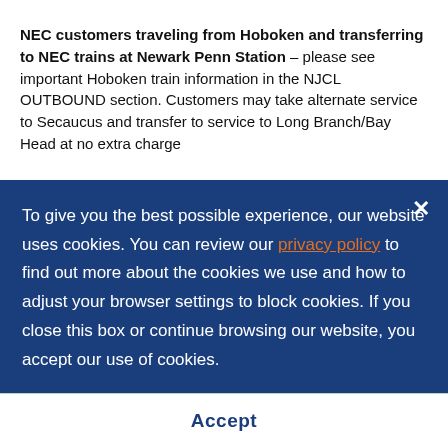NEC customers traveling from Hoboken and transferring to NEC trains at Newark Penn Station – please see important Hoboken train information in the NJCL OUTBOUND section. Customers may take alternate service to Secaucus and transfer to service to Long Branch/Bay Head at no extra charge
-
To give you the best possible experience, our website uses cookies. You can review our privacy policy to find out more about the cookies we use and how to adjust your browser settings to block cookies. If you close this box or continue browsing our website, you accept our use of cookies.
Accept